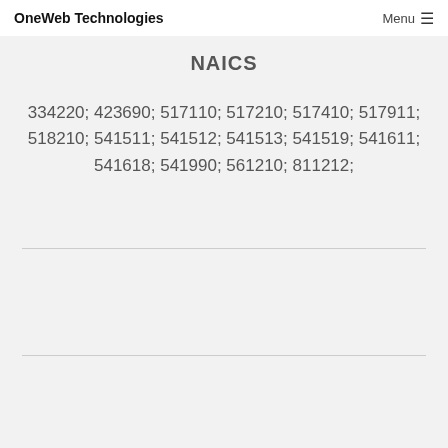OneWeb Technologies  Menu ☰
NAICS
334220; 423690; 517110; 517210; 517410; 517911; 518210; 541511; 541512; 541513; 541519; 541611; 541618; 541990; 561210; 811212;